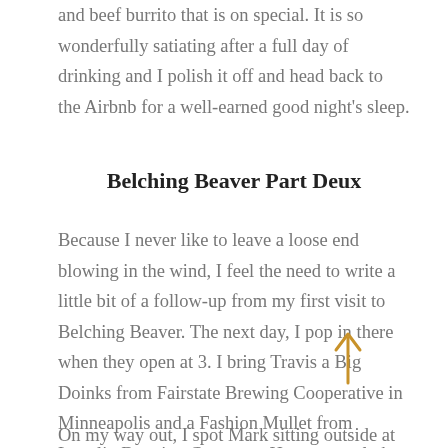and beef burrito that is on special. It is so wonderfully satiating after a full day of drinking and I polish it off and head back to the Airbnb for a well-earned good night's sleep.
Belching Beaver Part Deux
Because I never like to leave a loose end blowing in the wind, I feel the need to write a little bit of a follow-up from my first visit to Belching Beaver. The next day, I pop in there when they open at 3. I bring Travis a Big Doinks from Fairstate Brewing Cooperative in Minneapolis and a Fashion Mullet from Lupulin Brewing Company. He generously has 3 wonderful sour beers for me another Buenos Tiempos and chat with some other folks at the brewery.
On my way out, I spot Mark sitting outside at the street-